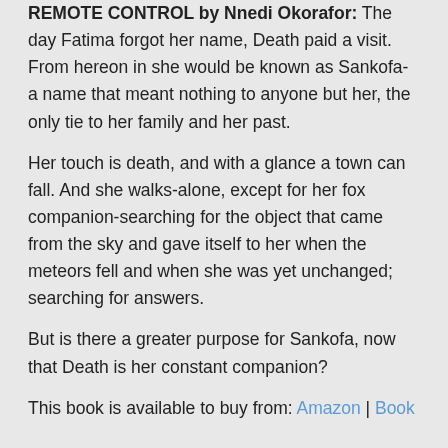REMOTE CONTROL by Nnedi Okorafor: The day Fatima forgot her name, Death paid a visit. From hereon in she would be known as Sankofa- a name that meant nothing to anyone but her, the only tie to her family and her past.
Her touch is death, and with a glance a town can fall. And she walks-alone, except for her fox companion-searching for the object that came from the sky and gave itself to her when the meteors fell and when she was yet unchanged; searching for answers.
But is there a greater purpose for Sankofa, now that Death is her constant companion?
This book is available to buy from: Amazon | Book